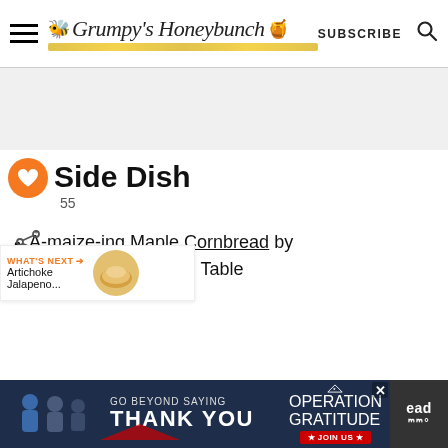Grumpy's Honeybunch — SUBSCRIBE
Side Dish
55
A-maize-ing Maple Cornbread by ... Around The Table
[Figure (infographic): Bottom banner ad: Operation Gratitude — Go Beyond Saying Thank You. Join Us.]